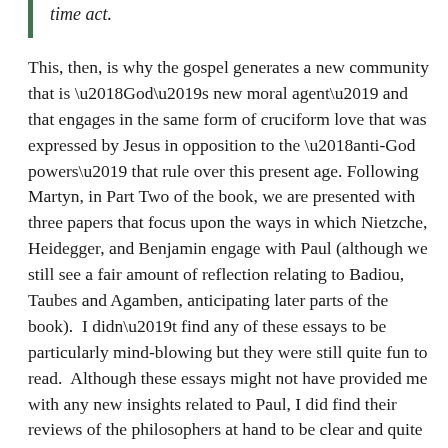time act.
This, then, is why the gospel generates a new community that is ‘God’s new moral agent’ and that engages in the same form of cruciform love that was expressed by Jesus in opposition to the ‘anti-God powers’ that rule over this present age. Following Martyn, in Part Two of the book, we are presented with three papers that focus upon the ways in which Nietzche, Heidegger, and Benjamin engage with Paul (although we still see a fair amount of reflection relating to Badiou, Taubes and Agamben, anticipating later parts of the book).  I didn’t find any of these essays to be particularly mind-blowing but they were still quite fun to read.  Although these essays might not have provided me with any new insights related to Paul, I did find their reviews of the philosophers at hand to be clear and quite useful.  Alas, too my shame, I have not spent nearly enough time reading any of these big three